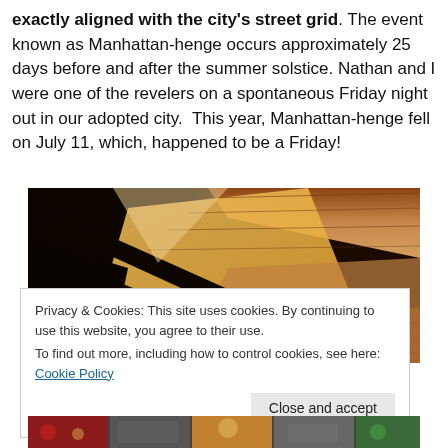exactly aligned with the city's street grid. The event known as Manhattan-henge occurs approximately 25 days before and after the summer solstice. Nathan and I were one of the revelers on a spontaneous Friday night out in our adopted city.  This year, Manhattan-henge fell on July 11, which, happened to be a Friday!
[Figure (photo): Close-up photograph of a ceiling or overhead structure with brick/stone surfaces illuminated by sunlight coming through gaps, with a dark beam or rod crossing diagonally.]
Privacy & Cookies: This site uses cookies. By continuing to use this website, you agree to their use.
To find out more, including how to control cookies, see here: Cookie Policy
[Figure (photo): Bottom strip showing a partial street scene with colorful imagery.]